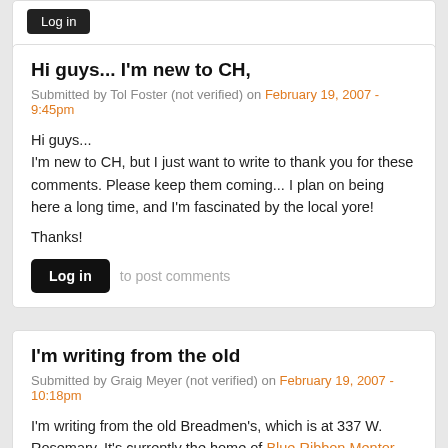Log in (button at top)
Hi guys... I'm new to CH,
Submitted by Tol Foster (not verified) on February 19, 2007 - 9:45pm
Hi guys...
I'm new to CH, but I just want to write to thank you for these comments. Please keep them coming... I plan on being here a long time, and I'm fascinated by the local yore!

Thanks!
Log in to post comments
I'm writing from the old
Submitted by Graig Meyer (not verified) on February 19, 2007 - 10:18pm
I'm writing from the old Breadmen's, which is at 337 W. Rosemary. It's currently the home of Blue Ribbon Mentor-